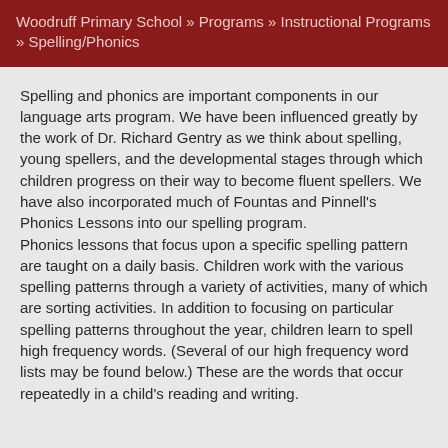Woodruff Primary School » Programs » Instructional Programs » Spelling/Phonics
Spelling and phonics are important components in our language arts program. We have been influenced greatly by the work of Dr. Richard Gentry as we think about spelling, young spellers, and the developmental stages through which children progress on their way to become fluent spellers. We have also incorporated much of Fountas and Pinnell's Phonics Lessons into our spelling program.
Phonics lessons that focus upon a specific spelling pattern are taught on a daily basis. Children work with the various spelling patterns through a variety of activities, many of which are sorting activities. In addition to focusing on particular spelling patterns throughout the year, children learn to spell high frequency words. (Several of our high frequency word lists may be found below.) These are the words that occur repeatedly in a child's reading and writing.